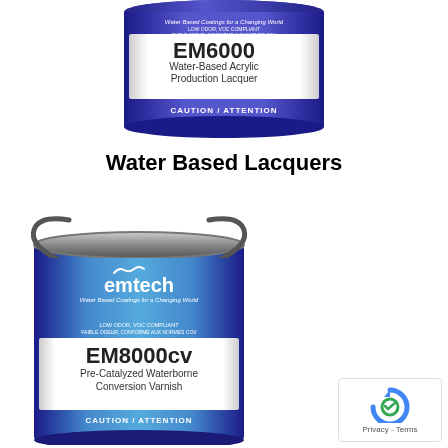[Figure (photo): Blue paint can with white label showing 'EM6000 Water-Based Acrylic Production Lacquer' by emtech brand, with CAUTION/ATTENTION warning band at bottom]
Water Based Lacquers
[Figure (photo): Gallon-sized blue paint can with handle showing 'emtech Water Based Coatings for a Changing World' branding and white label showing 'EM8000cv Pre-Catalyzed Waterborne Conversion Varnish' with CAUTION/ATTENTION warning band at bottom]
[Figure (logo): Google reCAPTCHA privacy badge with blue reCAPTCHA icon and 'Privacy - Terms' text]